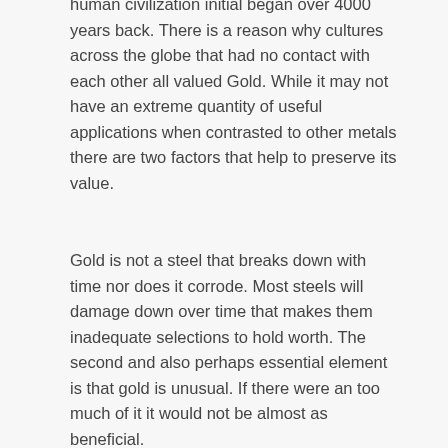human civilization initial began over 4000 years back. There is a reason why cultures across the globe that had no contact with each other all valued Gold. While it may not have an extreme quantity of useful applications when contrasted to other metals there are two factors that help to preserve its value.
Gold is not a steel that breaks down with time nor does it corrode. Most steels will damage down over time that makes them inadequate selections to hold worth. The second and also perhaps essential element is that gold is unusual. If there were an too much of it it would not be almost as beneficial.